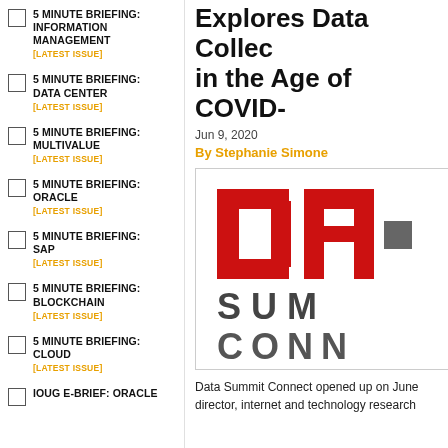5 MINUTE BRIEFING: INFORMATION MANAGEMENT [LATEST ISSUE]
5 MINUTE BRIEFING: DATA CENTER [LATEST ISSUE]
5 MINUTE BRIEFING: MULTIVALUE [LATEST ISSUE]
5 MINUTE BRIEFING: ORACLE [LATEST ISSUE]
5 MINUTE BRIEFING: SAP [LATEST ISSUE]
5 MINUTE BRIEFING: BLOCKCHAIN [LATEST ISSUE]
5 MINUTE BRIEFING: CLOUD [LATEST ISSUE]
IOUG E-BRIEF: ORACLE
Explores Data Collection in the Age of COVID-
Jun 9, 2020
By Stephanie Simone
[Figure (logo): Data Summit Connect logo showing stylized red letters and dark grey text reading SUM and CONN]
Data Summit Connect opened up on June director, internet and technology research